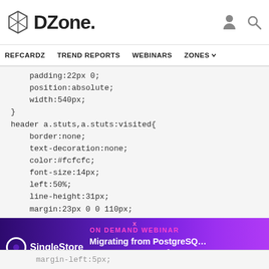DZone. REFCARDZ TREND REPORTS WEBINARS ZONES
padding:22px 0;
    position:absolute;
    width:540px;
}
header a.stuts,a.stuts:visited{
    border:none;
    text-decoration:none;
    color:#fcfcfc;
    font-size:14px;
    left:50%;
    line-height:31px;
    margin:23px 0 0 110px;
    position:absolute;
[Figure (screenshot): Advertisement banner for SingleStore on-demand webinar: Migrating from PostgreSQL 20-100x Faster Performance]
margin-left:5px;